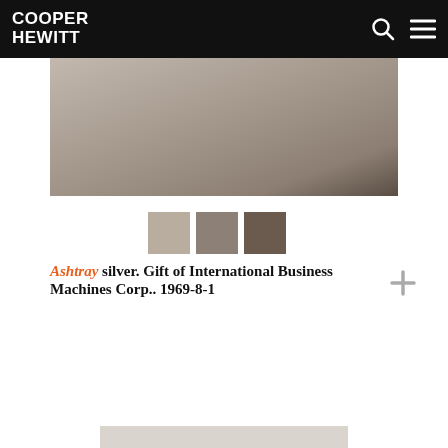COOPER HEWITT
[Figure (photo): Close-up photo of an ashtray in silver/brown tones with blurred background]
[Figure (infographic): Three color swatches: light taupe, medium taupe/grey, dark brown]
Ashtray silver. Gift of International Business Machines Corp.. 1969-8-1
[Figure (photo): Partial view of another object at the bottom of the page]